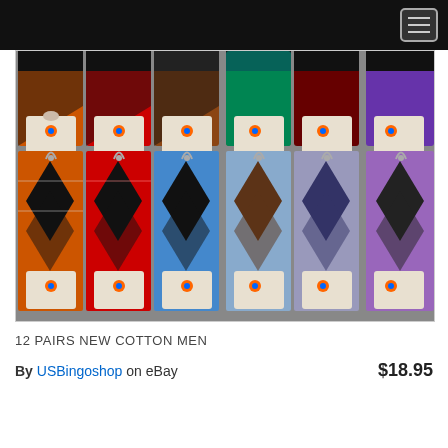[Figure (photo): Product photo showing 12 pairs of argyle cotton men's socks in various colors including orange/black, red/black, blue/black, brown/blue, gray/purple, and purple/black patterns, each pair packaged with a branded hang tag.]
12 PAIRS NEW COTTON MEN
By USBingoshop  on eBay   $18.95